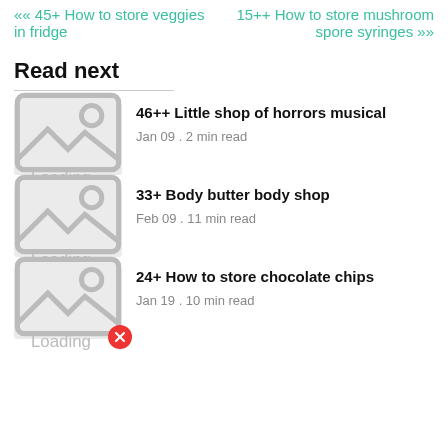«« 45+ How to store veggies in fridge
15++ How to store mushroom spore syringes »»
Read next
46++ Little shop of horrors musical
Jan 09 . 2 min read
33+ Body butter body shop
Feb 09 . 11 min read
24+ How to store chocolate chips
Jan 19 . 10 min read